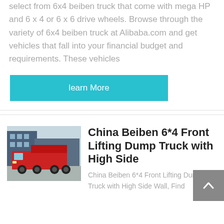select from 6x4 beiben truck that come with mega HP and 6 x 4 or 6 x 6 drive wheels. Browse through the variety of 6x4 beiben truck at Alibaba.com and get vehicles that fall into your financial budget and requirements. These vehicles
learn More
[Figure (photo): Red Beiben 6x4 front lifting dump truck parked outside a building]
China Beiben 6*4 Front Lifting Dump Truck with High Side
China Beiben 6*4 Front Lifting Dump Truck with High Side Wall, Find